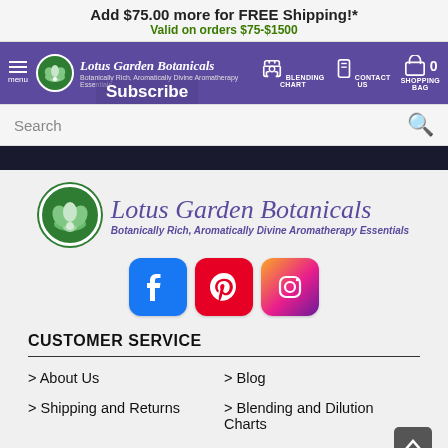Add $75.00 more for FREE Shipping!* Valid on orders $75-$1500
[Figure (screenshot): Lotus Garden Botanicals website navigation bar with purple background, hamburger menu, logo, blending chart, contact us, and shopping bag icons]
Search
[Figure (logo): Lotus Garden Botanicals logo with green lotus circle icon, italic purple brand name, and purple tagline 'Botanically Rich, Aromatically Divine Aromatherapy Essentials']
[Figure (infographic): Social media icons: Facebook (blue), Pinterest (red), Instagram (gradient)]
CUSTOMER SERVICE
> About Us
> Blog
> Shipping and Returns
> Blending and Dilution Charts
> Free Sample Policy